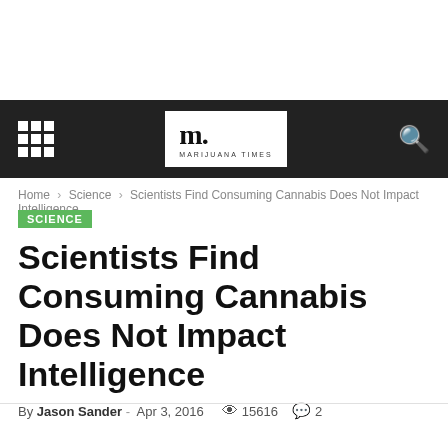Marijuana Times navigation bar with logo
Home > Science > Scientists Find Consuming Cannabis Does Not Impact Intelligence
SCIENCE
Scientists Find Consuming Cannabis Does Not Impact Intelligence
By Jason Sander - Apr 3, 2016  15616  2